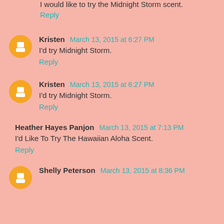I would like to try the Midnight Storm scent.
Reply
Kristen  March 13, 2015 at 6:27 PM
I'd try Midnight Storm.
Reply
Kristen  March 13, 2015 at 6:27 PM
I'd try Midnight Storm.
Reply
Heather Hayes Panjon  March 13, 2015 at 7:13 PM
I'd Like To Try The Hawaiian Aloha Scent.
Reply
Shelly Peterson  March 13, 2015 at 8:36 PM